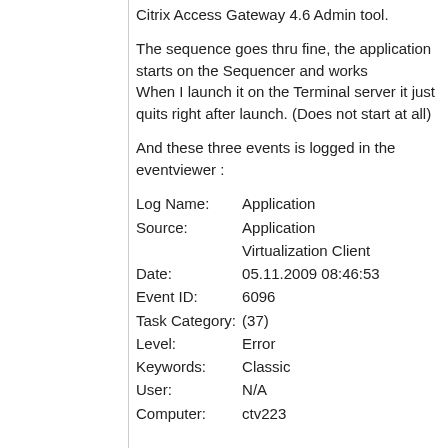Citrix Access Gateway 4.6 Admin tool.
The sequence goes thru fine, the application starts on the Sequencer and works
When I launch it on the Terminal server it just quits right after launch. (Does not start at all)
And these three events is logged in the eventviewer :
Log Name:	Application
Source:	Application Virtualization Client
Date:	05.11.2009 08:46:53
Event ID:	6096
Task Category:	(37)
Level:	Error
Keywords:	Classic
User:	N/A
Computer:	ctv223